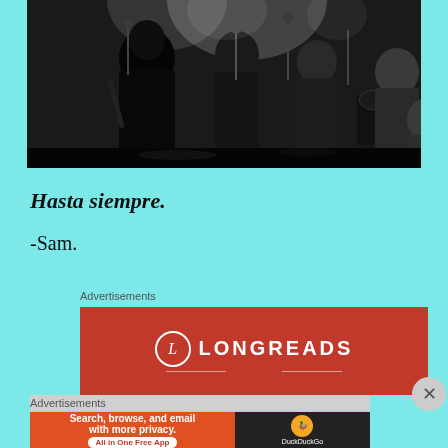[Figure (photo): Black and white photo of a band performing on stage, multiple musicians with microphones and instruments visible]
Hasta siempre.
-Sam.
Advertisements
[Figure (logo): Longreads advertisement banner with red background, circle L logo and LONGREADS text]
Advertisements
[Figure (screenshot): DuckDuckGo advertisement: Search, browse, and email with more privacy. All in One Free App]